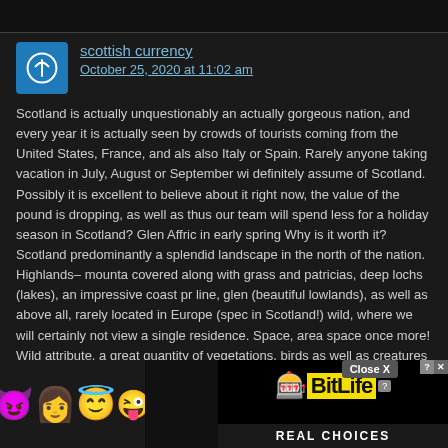scottish currency
October 25, 2020 at 11:02 am
Scotland is actually unquestionably an actually gorgeous nation, and every year it is actually seen by crowds of tourists coming from the United States, France, and also also Italy or Spain. Rarely anyone taking vacation in July, August or September will definitely assume of Scotland. Possibly it is excellent to believe about it right now, the value of the pound is dropping, as well as thus our team will spend less for a holiday season in Scotland? Glen Affric in early spring Why is it worth it? Scotland is predominantly a splendid landscape in the north of the nation. Highlands– mountains covered along with grass and patricias, deep lochs (lakes), an impressive coast price line, glen (beautiful lowlands), as well as above all, rarely located in Europe (specifically in Scotland!) wild, where we will certainly not view a single residence. Space, area, space once more! Wild attribute, a great quantity of vegetations, birds as well as other creatures wait for attributes aficionados. In Scotland, I have already had the capacity enjoy seals, dolphins and even deer. Scotland is actually also a traditionally fascinating property (that checked out Brave Heart?), Where you can check out wonderful royal palaces (Edinburgh, Stirling, Linlithgow, Eilean Donan). The resources on its own, majestic Edinburgh, additionally ought to have interest, particularly in the course of the summer months celebrations. nation Scotland, scottish Scotland, application Scotland tory Scotland, info Scotland, scotland Scotland, us Scotland, client Scotland, Scotland, creed Scotland, chart Scotland, iona Scotland, menu Scotland, trip Scotland, records Scotland, and learning Scotland,